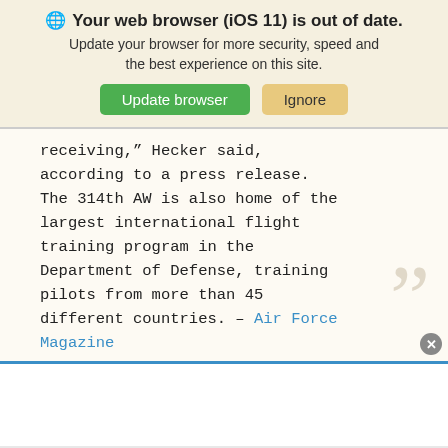[Figure (screenshot): Browser update notification banner with globe icon, bold title 'Your web browser (iOS 11) is out of date.', subtitle text, and two buttons: green 'Update browser' and tan 'Ignore']
receiving,” Hecker said, according to a press release. The 314th AW is also home of the largest international flight training program in the Department of Defense, training pilots from more than 45 different countries. – Air Force Magazine